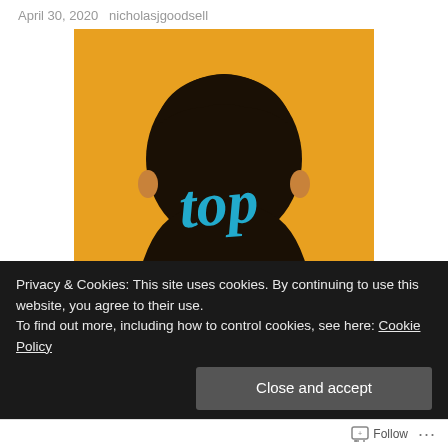April 30, 2020   nicholasjgoodsell
[Figure (illustration): Book cover showing the back of a person's head with cyan cursive text reading 'top' and large white bold text reading 'SECRET' on an orange/amber background]
Privacy & Cookies: This site uses cookies. By continuing to use this website, you agree to their use.
To find out more, including how to control cookies, see here: Cookie Policy
Close and accept